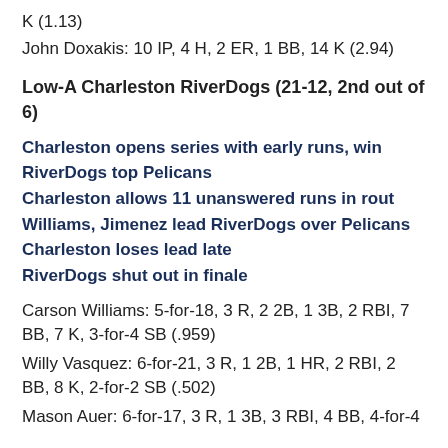K (1.13)
John Doxakis: 10 IP, 4 H, 2 ER, 1 BB, 14 K (2.94)
Low-A Charleston RiverDogs (21-12, 2nd out of 6)
Charleston opens series with early runs, win
RiverDogs top Pelicans
Charleston allows 11 unanswered runs in rout
Williams, Jimenez lead RiverDogs over Pelicans
Charleston loses lead late
RiverDogs shut out in finale
Carson Williams: 5-for-18, 3 R, 2 2B, 1 3B, 2 RBI, 7 BB, 7 K, 3-for-4 SB (.959)
Willy Vasquez: 6-for-21, 3 R, 1 2B, 1 HR, 2 RBI, 2 BB, 8 K, 2-for-2 SB (.502)
Mason Auer: 6-for-17, 3 R, 1 3B, 3 RBI, 4 BB, 4-for-4